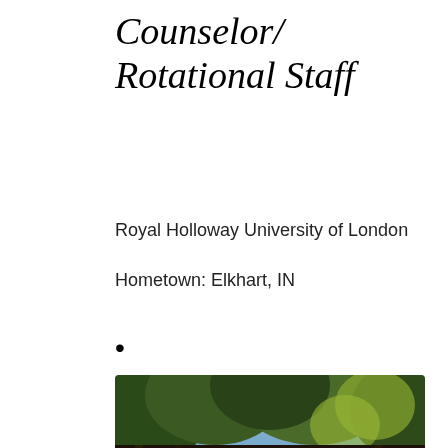Counselor/Rotational Staff
Royal Holloway University of London
Hometown: Elkhart, IN
• • •
[Figure (photo): Portrait photo of a young woman with braided hair outdoors with trees in background]